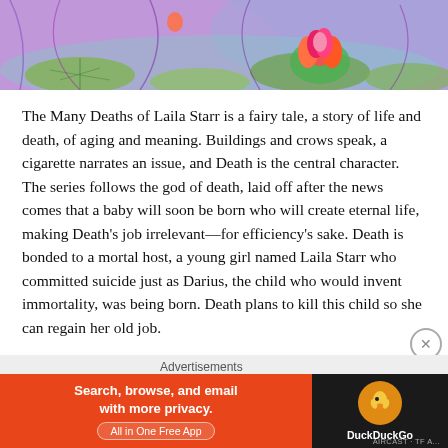[Figure (illustration): Colorful illustration showing lily pads, lotus flower, and decorative foliage in purple, pink, orange, and green tones]
The Many Deaths of Laila Starr is a fairy tale, a story of life and death, of aging and meaning. Buildings and crows speak, a cigarette narrates an issue, and Death is the central character. The series follows the god of death, laid off after the news comes that a baby will soon be born who will create eternal life, making Death's job irrelevant—for efficiency's sake. Death is bonded to a mortal host, a young girl named Laila Starr who committed suicide just as Darius, the child who would invent immortality, was being born. Death plans to kill this child so she can regain her old job.
Throughout the five issues, Laila Starr and Darius meet at
[Figure (screenshot): Advertisement banner: DuckDuckGo ad with orange background reading 'Search, browse, and email with more privacy. All in One Free App' with DuckDuckGo logo on dark background]